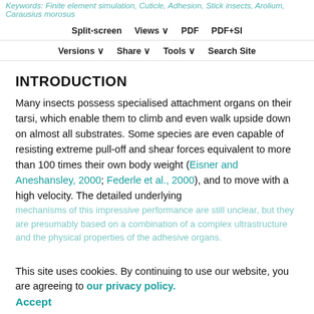Keywords: Finite element simulation, Cuticle, Adhesion, Stick insects, Arolium, Carausius morosus
Split-screen  Views  PDF  PDF+SI  Versions  Share  Tools  Search Site
INTRODUCTION
Many insects possess specialised attachment organs on their tarsi, which enable them to climb and even walk upside down on almost all substrates. Some species are even capable of resisting extreme pull-off and shear forces equivalent to more than 100 times their own body weight (Eisner and Aneshansley, 2000; Federle et al., 2000), and to move with a high velocity. The detailed underlying
mechanisms of this impressive performance are still unclear, but they are presumably based on a combination of a complex ultrastructure and the physical properties of the adhesive organs.
This site uses cookies. By continuing to use our website, you are agreeing to our privacy policy. Accept